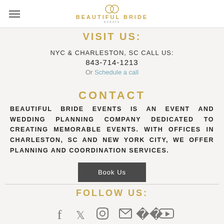Beautiful Bride Events
VISIT US:
NYC & CHARLESTON, SC CALL US:
843-714-1213
Or Schedule a call
CONTACT
BEAUTIFUL BRIDE EVENTS IS AN EVENT AND WEDDING PLANNING COMPANY DEDICATED TO CREATING MEMORABLE EVENTS. WITH OFFICES IN CHARLESTON, SC AND NEW YORK CITY, WE OFFER PLANNING AND COORDINATION SERVICES.
Book Us
FOLLOW US:
[Figure (illustration): Social media icons: Facebook, Twitter, Instagram, Email, Pinterest, YouTube]